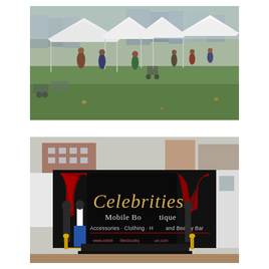[Figure (photo): Outdoor market or fair scene with white pop-up canopy tents on a green lawn, city buildings in background, people browsing and walking around vendor stalls on an autumn day]
[Figure (photo): Celebrities Mobile Boutique truck with a large black banner featuring red curtains and gold script text reading 'Celebrities Mobile Boutique - Accessories · Clothing · H... and Beauty Bar'. Mannequins dressed in clothing are displayed in front of the truck, and merchandise is set out on tables. The scene is on a brick plaza with city buildings in the background.]